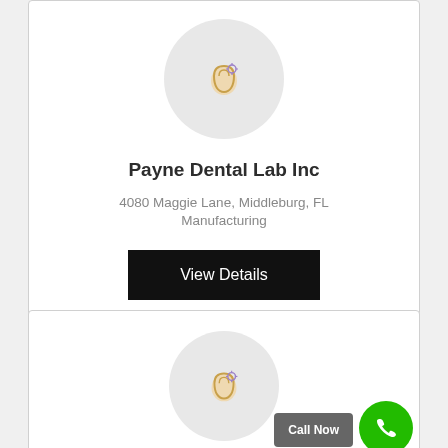[Figure (logo): Circular logo placeholder with a dental/tooth icon in orange and purple on light grey background]
Payne Dental Lab Inc
4080 Maggie Lane, Middleburg, FL
Manufacturing
View Details
[Figure (logo): Circular logo placeholder with a dental/tooth icon in orange and purple on light grey background]
Call Now